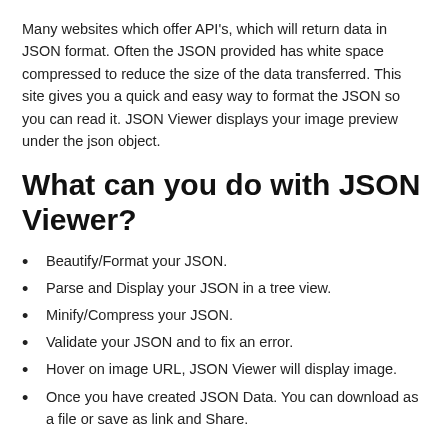Many websites which offer API's, which will return data in JSON format. Often the JSON provided has white space compressed to reduce the size of the data transferred. This site gives you a quick and easy way to format the JSON so you can read it. JSON Viewer displays your image preview under the json object.
What can you do with JSON Viewer?
Beautify/Format your JSON.
Parse and Display your JSON in a tree view.
Minify/Compress your JSON.
Validate your JSON and to fix an error.
Hover on image URL, JSON Viewer will display image.
Once you have created JSON Data. You can download as a file or save as link and Share.